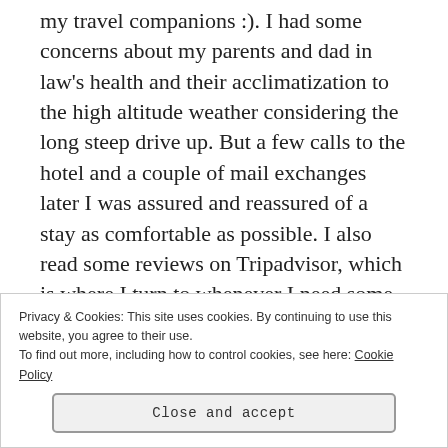my travel companions :). I had some concerns about my parents and dad in law's health and their acclimatization to the high altitude weather considering the long steep drive up. But a few calls to the hotel and a couple of mail exchanges later I was assured and reassured of a stay as comfortable as possible. I also read some reviews on Tripadvisor, which is where I turn to whenever I need some more clarity about the destinations I am travelling to, which further helped me in deciding to go ahead with this choice. Most of the reviewers had only good things to say about the hotel.
Privacy & Cookies: This site uses cookies. By continuing to use this website, you agree to their use.
To find out more, including how to control cookies, see here: Cookie Policy
Close and accept